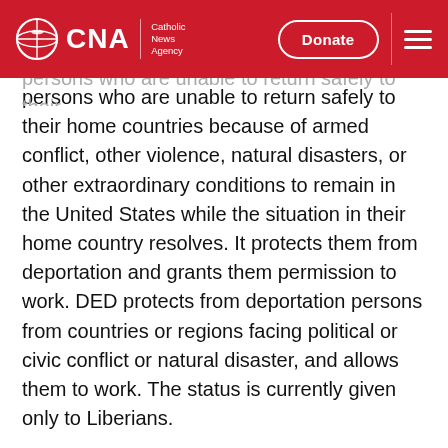CNA | Catholic News Agency
persons who are unable to return safely to their home countries because of armed conflict, other violence, natural disasters, or other extraordinary conditions to remain in the United States while the situation in their home country resolves. It protects them from deportation and grants them permission to work. DED protects from deportation persons from countries or regions facing political or civic conflict or natural disaster, and allows them to work. The status is currently given only to Liberians.
Those with TPS or DED could apply for lawful permanent residence if they have been in the